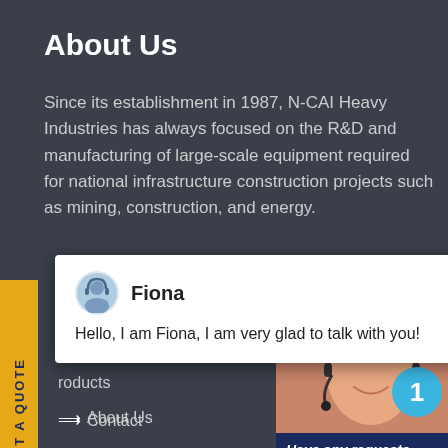About Us
Since its establishment in 1987, N-CAI Heavy Industries has always focused on the R&D and manufacturing of large-scale equipment required for national infrastructure construction projects such as mining, construction, and energy.
[Figure (screenshot): Chat popup with avatar of Fiona and greeting message]
Quick links
Home
Products
About Us
Contact
[Figure (photo): Customer service agent photo with headset, blue notification badge showing 1, and CTA box with 'Have any requests, click here.' and Quotation button]